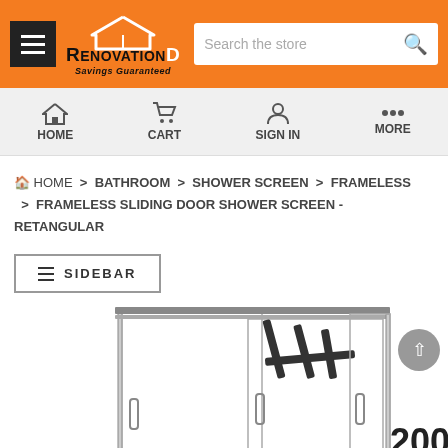RenovationD - Savings Guaranteed
HOME  CART  SIGN IN  MORE
HOME > BATHROOM > SHOWER SCREEN > FRAMELESS > FRAMELESS SLIDING DOOR SHOWER SCREEN - RETANGULAR
≡ SIDEBAR
[Figure (illustration): Line drawing of a frameless sliding door shower screen - rectangular, showing two glass panels with sliding door mechanism and handles. Dimension label 2000 visible on the right side.]